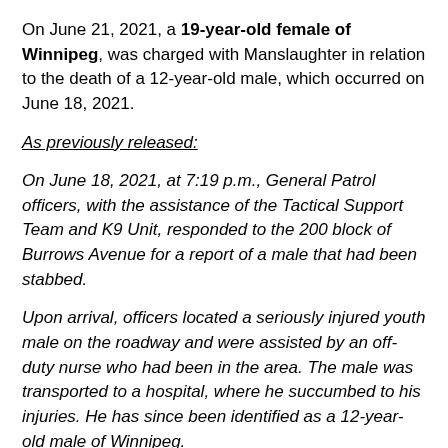On June 21, 2021, a 19-year-old female of Winnipeg, was charged with Manslaughter in relation to the death of a 12-year-old male, which occurred on June 18, 2021.
As previously released:
On June 18, 2021, at 7:19 p.m., General Patrol officers, with the assistance of the Tactical Support Team and K9 Unit, responded to the 200 block of Burrows Avenue for a report of a male that had been stabbed.
Upon arrival, officers located a seriously injured youth male on the roadway and were assisted by an off-duty nurse who had been in the area. The male was transported to a hospital, where he succumbed to his injuries. He has since been identified as a 12-year-old male of Winnipeg.